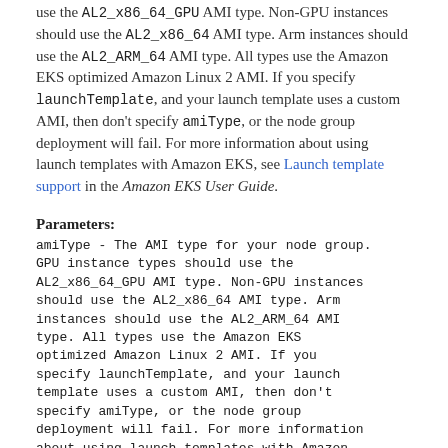use the AL2_x86_64_GPU AMI type. Non-GPU instances should use the AL2_x86_64 AMI type. Arm instances should use the AL2_ARM_64 AMI type. All types use the Amazon EKS optimized Amazon Linux 2 AMI. If you specify launchTemplate, and your launch template uses a custom AMI, then don't specify amiType, or the node group deployment will fail. For more information about using launch templates with Amazon EKS, see Launch template support in the Amazon EKS User Guide.
Parameters:
amiType - The AMI type for your node group. GPU instance types should use the AL2_x86_64_GPU AMI type. Non-GPU instances should use the AL2_x86_64 AMI type. Arm instances should use the AL2_ARM_64 AMI type. All types use the Amazon EKS optimized Amazon Linux 2 AMI. If you specify launchTemplate, and your launch template uses a custom AMI, then don't specify amiType, or the node group deployment will fail. For more information about using launch templates with Amazon EKS, see launch template support in the